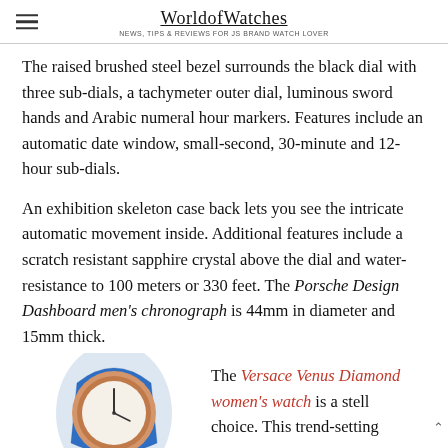WorldofWatches — NEWS, TIPS & REVIEWS FOR JS BRAND WATCH LOVER
The raised brushed steel bezel surrounds the black dial with three sub-dials, a tachymeter outer dial, luminous sword hands and Arabic numeral hour markers. Features include an automatic date window, small-second, 30-minute and 12-hour sub-dials.
An exhibition skeleton case back lets you see the intricate automatic movement inside. Additional features include a scratch resistant sapphire crystal above the dial and water-resistance to 100 meters or 330 feet. The Porsche Design Dashboard men's chronograph is 44mm in diameter and 15mm thick.
[Figure (photo): Photo of a watch with blue lizard-pattern strap and rose gold case, partially visible at bottom left]
The Versace Venus Diamond women's watch is a stellar choice. This trend-setting